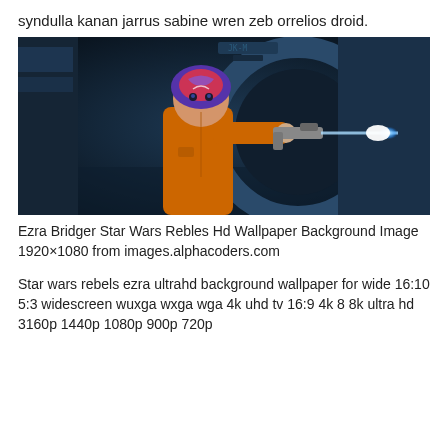syndulla kanan jarrus sabine wren zeb orrelios droid.
[Figure (photo): Animated character Ezra Bridger from Star Wars Rebels, holding a blaster that is firing a blue energy blast, wearing an orange jacket and a purple/white helmet, set against a dark industrial background.]
Ezra Bridger Star Wars Rebles Hd Wallpaper Background Image 1920×1080 from images.alphacoders.com
Star wars rebels ezra ultrahd background wallpaper for wide 16:10 5:3 widescreen wuxga wxga wga 4k uhd tv 16:9 4k 8 8k ultra hd 3160p 1440p 1080p 900p 720p